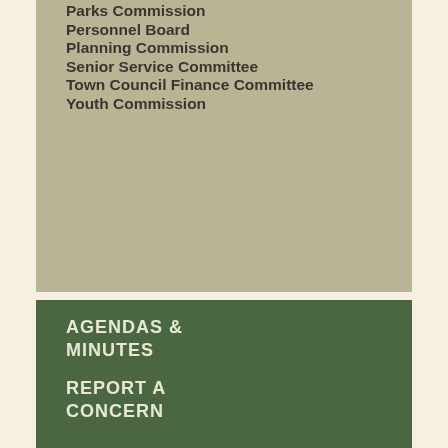Parks Commission
Personnel Board
Planning Commission
Senior Service Committee
Town Council Finance Committee
Youth Commission
AGENDAS & MINUTES
REPORT A CONCERN